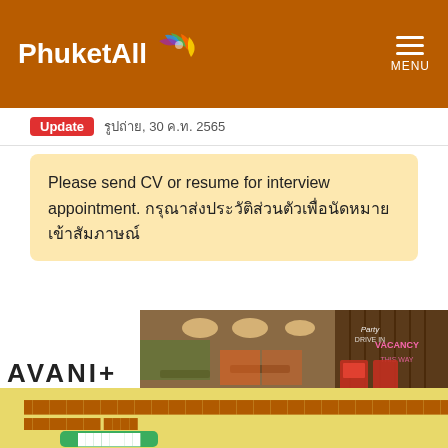PhuketAll MENU
Update รูปถ่าย, 30 ค.ท. 2565
Please send CV or resume for interview appointment. กรุณาส่งประวัติส่วนตัวเพื่อนัดหมายเข้าสัมภาษณ์
[Figure (photo): AVANI+ hotel brand image alongside restaurant interior photos with neon signs]
Thai text job posting description with apply button